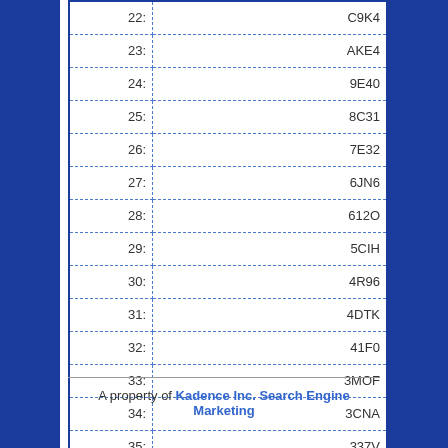| Index | Value |
| --- | --- |
| 22: | C9K4 |
| 23: | AKE4 |
| 24: | 9E40 |
| 25: | 8C31 |
| 26: | 7E32 |
| 27: | 6JN6 |
| 28: | 612O |
| 29: | 5CIH |
| 30: | 4R96 |
| 31: | 4DTK |
| 32: | 41F0 |
| 33: | 3MOF |
| 34: | 3CNA |
| 35: | 337V |
| 36: | 2UAO |
A property of Kadence Inc. Search Engine Marketing